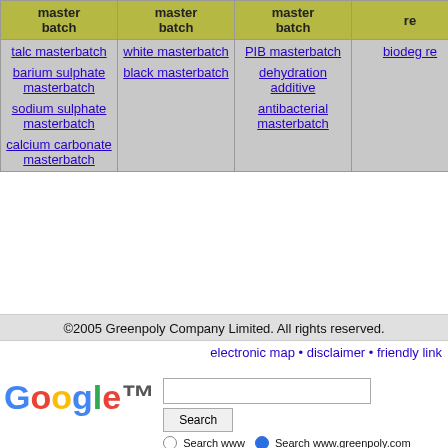| master batch | master batch | master batch | re... |
| --- | --- | --- | --- |
| talc masterbatch
barium sulphate masterbatch
sodium sulphate masterbatch
calcium carbonate masterbatch | white masterbatch
black masterbatch | PIB masterbatch
dehydration additive
antibacterial masterbatch | biodeg... re... |
©2005 Greenpoly Company Limited. All rights reserved.
electronic map • disclaimer • friendly link